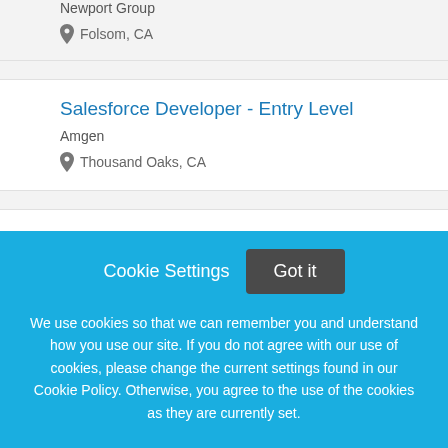Newport Group
Folsom, CA
Salesforce Developer - Entry Level
Amgen
Thousand Oaks, CA
Creative Assistant/Photo Editor, Entry Level
Cookie Settings  Got it

We use cookies so that we can remember you and understand how you use our site. If you do not agree with our use of cookies, please change the current settings found in our Cookie Policy. Otherwise, you agree to the use of the cookies as they are currently set.